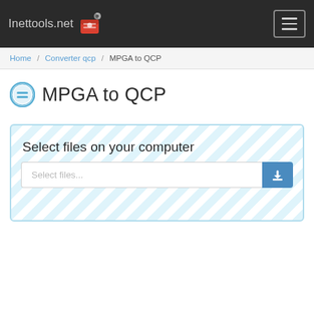Inettools.net
Home / Converter qcp / MPGA to QCP
MPGA to QCP
Select files on your computer
Select files...